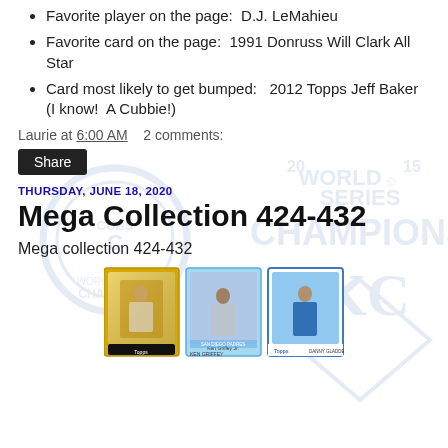Favorite player on the page:  D.J. LeMahieu
Favorite card on the page:  1991 Donruss Will Clark All Star
Card most likely to get bumped:   2012 Topps Jeff Baker (I know!  A Cubbie!)
Laurie at 6:00 AM    2 comments:
Share
THURSDAY, JUNE 18, 2020
Mega Collection 424-432
Mega collection 424-432
[Figure (photo): Three baseball cards shown side by side: a Topps gold chrome card of an Orioles player, a card of Ken Griffey Jr. in a San Diego Padres uniform, and a Topps card of Danny Gladden.]